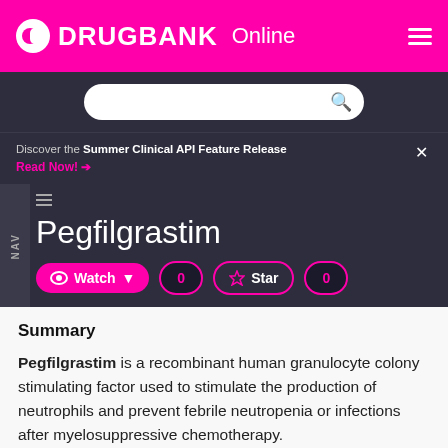DrugBank Online
Pegfilgrastim
Discover the Summer Clinical API Feature Release
Read Now!
Summary
Pegfilgrastim is a recombinant human granulocyte colony stimulating factor used to stimulate the production of neutrophils and prevent febrile neutropenia or infections after myelosuppressive chemotherapy.